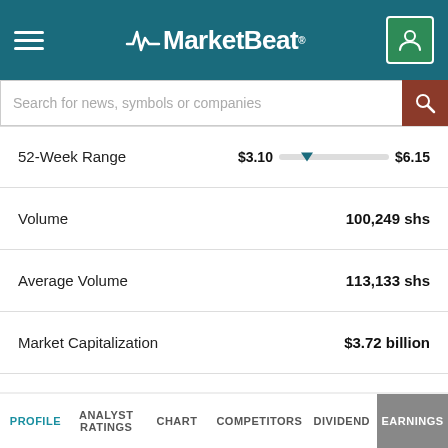MarketBeat
| Metric | Value |
| --- | --- |
| 52-Week Range | $3.10 – $6.15 |
| Volume | 100,249 shs |
| Average Volume | 113,133 shs |
| Market Capitalization | $3.72 billion |
| P/E Ratio | 3.42 |
| Dividend Yield | 7.62% |
| Price Target | $6.20 |
PROFILE | ANALYST RATINGS | CHART | COMPETITORS | DIVIDEND | EARNINGS